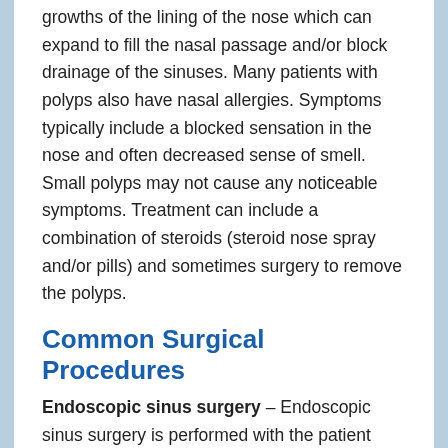growths of the lining of the nose which can expand to fill the nasal passage and/or block drainage of the sinuses. Many patients with polyps also have nasal allergies. Symptoms typically include a blocked sensation in the nose and often decreased sense of smell. Small polyps may not cause any noticeable symptoms. Treatment can include a combination of steroids (steroid nose spray and/or pills) and sometimes surgery to remove the polyps.
Common Surgical Procedures
Endoscopic sinus surgery – Endoscopic sinus surgery is performed with the patient under general anesthesia in an operating room, and involves the use of small telescopes and surgical instruments placed through the nose. The normal sinus openings are widened and conditions...